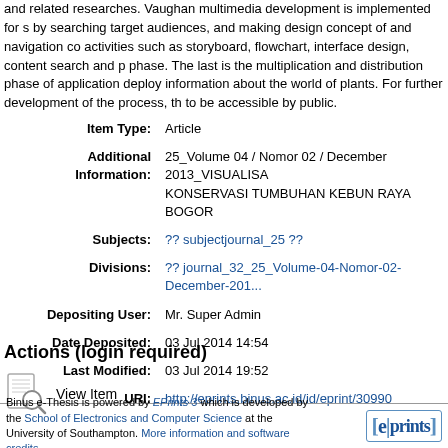and related researches. Vaughan multimedia development is implemented for s... by searching target audiences, and making design concept of and navigation co... activities such as storyboard, flowchart, interface design, content search and p... phase. The last is the multiplication and distribution phase of application deploy... information about the world of plants. For further development of the process, th... to be accessible by public.
| Item Type: | Article |
| Additional Information: | 25_Volume 04 / Nomor 02 / December 2013_VISUALISA... KONSERVASI TUMBUHAN KEBUN RAYA BOGOR |
| Subjects: | ?? subjectjournal_25 ?? |
| Divisions: | ?? journal_32_25_Volume-04-Nomor-02-December-201... |
| Depositing User: | Mr. Super Admin |
| Date Deposited: | 03 Jul 2014 14:54 |
| Last Modified: | 03 Jul 2014 19:52 |
| URI: | http://eprints.binus.ac.id/id/eprint/30990 |
Actions (login required)
[Figure (illustration): View Item icon - magnifying glass over a document]
View Item
Binus e-Thesis is powered by EPrints 3 which is developed by the School of Electronics and Computer Science at the University of Southampton. More information and software credits.